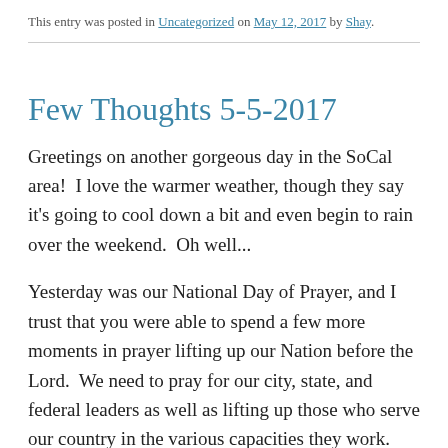This entry was posted in Uncategorized on May 12, 2017 by Shay.
Few Thoughts 5-5-2017
Greetings on another gorgeous day in the SoCal area!  I love the warmer weather, though they say it's going to cool down a bit and even begin to rain over the weekend.  Oh well...
Yesterday was our National Day of Prayer, and I trust that you were able to spend a few more moments in prayer lifting up our Nation before the Lord.  We need to pray for our city, state, and federal leaders as well as lifting up those who serve our country in the various capacities they work.  Military… Embassies… Representatives… and much, much more.  Do you pray for our President and his cabinet?  Do you pray for your church to be the light we need to be in our